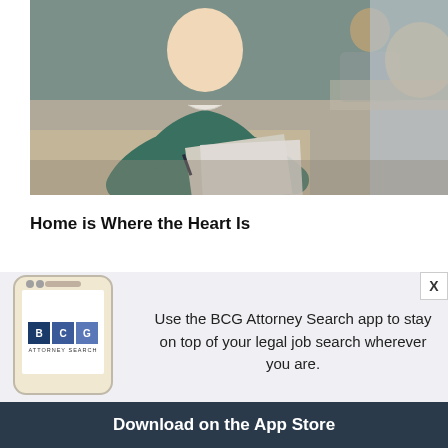[Figure (photo): A smiling man in a teal sweater sitting at a desk with papers and a pen, in a meeting with another person across the table, office background]
Home is Where the Heart Is
[Figure (photo): Blurred background image of a person, partially visible, with a circular dark pink/magenta scroll-to-top button overlay]
[Figure (infographic): BCG Attorney Search app advertisement banner showing a smartphone with BCG logo, text about the app, and a Download on the App Store button]